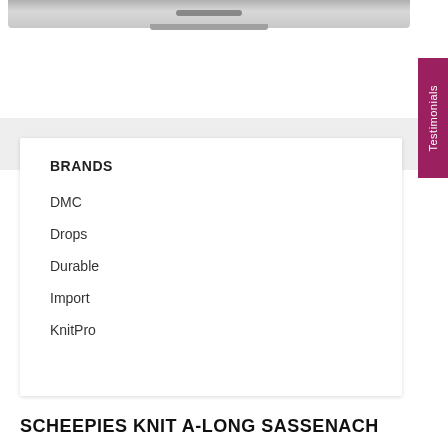[Figure (photo): Bottom edge of a laptop computer (MacBook-style) showing the hinge area against a white background]
BRANDS
DMC
Drops
Durable
Import
KnitPro
SCHEEPIES KNIT A-LONG SASSENACH